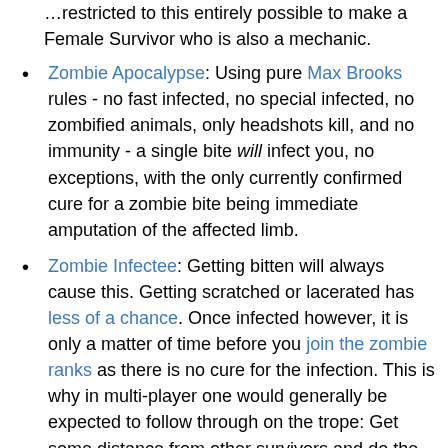…restricted to this entirely possible to make a Female Survivor who is also a mechanic.
Zombie Apocalypse: Using pure Max Brooks rules - no fast infected, no special infected, no zombified animals, only headshots kill, and no immunity - a single bite will infect you, no exceptions, with the only currently confirmed cure for a zombie bite being immediate amputation of the affected limb.
Zombie Infectee: Getting bitten will always cause this. Getting scratched or lacerated has less of a chance. Once infected however, it is only a matter of time before you join the zombie ranks as there is no cure for the infection. This is why in multi-player one would generally be expected to follow through on the trope: Get some distance from other survivors and do the honorable thing. (Leaving your loot behind, of course.)
Brilliantly, this seems to work even if you get infected and then die from a different cause (certainly not from accidentally setting yourself on fire with a carelessly-